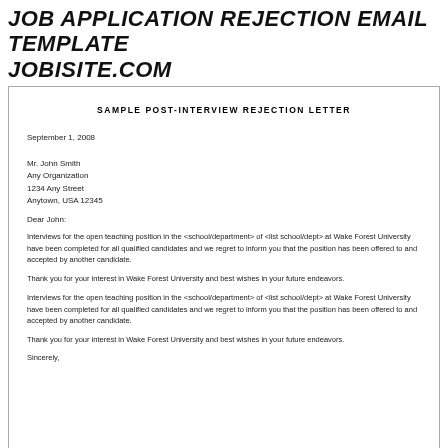JOB APPLICATION REJECTION EMAIL TEMPLATE
JOBISITE.COM
SAMPLE POST-INTERVIEW REJECTION LETTER
September 1, 2008
Mr. John Smith
Any Organization
1234 Any Street
Anytown, USA 12345
Dear John:
Interviews for the open teaching position in the <school/department> of <list school/dept> at Wake Forest University have been completed for all qualified candidates and we regret to inform you that the position has been offered to and accepted by another candidate.
Thank you for your interest in Wake Forest University and best wishes in your future endeavors.
Interviews for the open teaching position in the <school/department> of <list school/dept> at Wake Forest University have been completed for all qualified candidates and we regret to inform you that the position has been offered to and accepted by another candidate.
Thank you for your interest in Wake Forest University and best wishes in your future endeavors.
Sincerely,